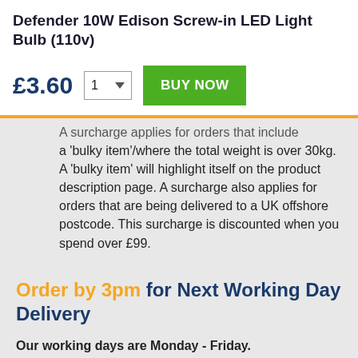Defender 10W Edison Screw-in LED Light Bulb (110v)
£3.60  1 ▼  BUY NOW
A surcharge applies for orders that include a 'bulky item'/where the total weight is over 30kg. A 'bulky item' will highlight itself on the product description page. A surcharge also applies for orders that are being delivered to a UK offshore postcode. This surcharge is discounted when you spend over £99.
Order by 3pm for Next Working Day Delivery
Our working days are Monday - Friday.